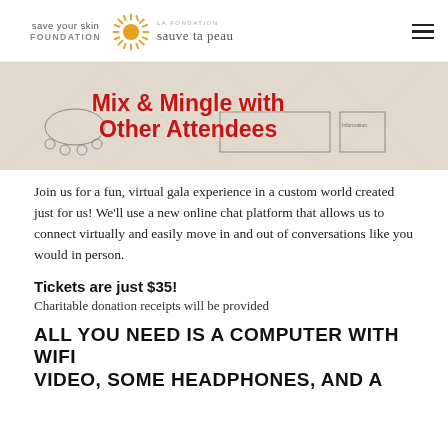save your skin FOUNDATION | LA FONDATION sauve ta peau
[Figure (illustration): Virtual gala floor plan illustration with text overlay 'Mix & Mingle with Other Attendees' in bold red]
Join us for a fun, virtual gala experience in a custom world created just for us! We'll use a new online chat platform that allows us to connect virtually and easily move in and out of conversations like you would in person.
Tickets are just $35!
Charitable donation receipts will be provided
ALL YOU NEED IS A COMPUTER WITH WIFI VIDEO, SOME HEADPHONES, AND A